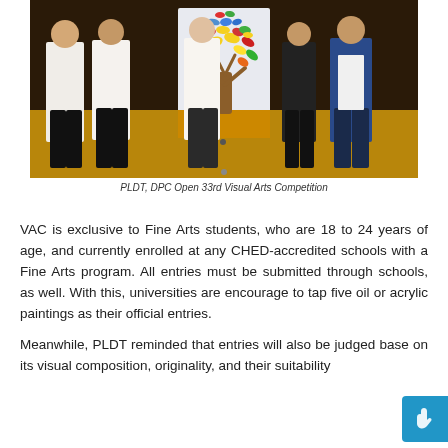[Figure (photo): Group photo of five people standing in front of a large canvas artwork depicting a colorful tree with multicolored leaves on a golden-brown floor background. The artwork is displayed on an easel or stand.]
PLDT, DPC Open 33rd Visual Arts Competition
VAC is exclusive to Fine Arts students, who are 18 to 24 years of age, and currently enrolled at any CHED-accredited schools with a Fine Arts program. All entries must be submitted through schools, as well. With this, universities are encourage to tap five oil or acrylic paintings as their official entries.
Meanwhile, PLDT reminded that entries will also be judged base on its visual composition, originality, and their suitability